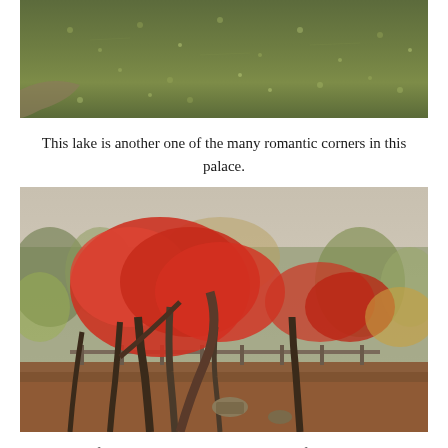[Figure (photo): Top portion of a lake with dark greenish water covered with fallen leaves, viewed from above at an angle.]
This lake is another one of the many romantic corners in this palace.
[Figure (photo): Autumn scene in a Korean palace garden with vibrant red maple trees in full fall color, brown leaf-covered ground, tree trunks, and a wooden fence in the background. Other trees in muted greens and yellows surround the bright red maples.]
Many famous Korean dramas have been filmed in these gardens. Among them, one of the most popular is Dao